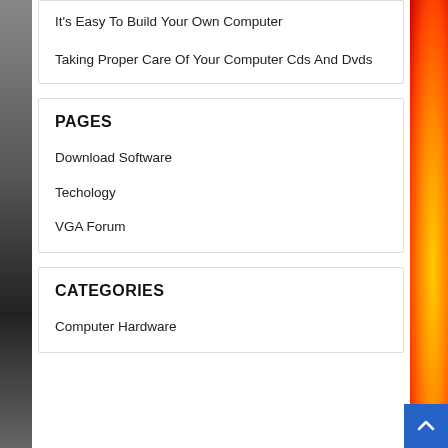It’s Easy To Build Your Own Computer
Taking Proper Care Of Your Computer Cds And Dvds
PAGES
Download Software
Techology
VGA Forum
CATEGORIES
Computer Hardware